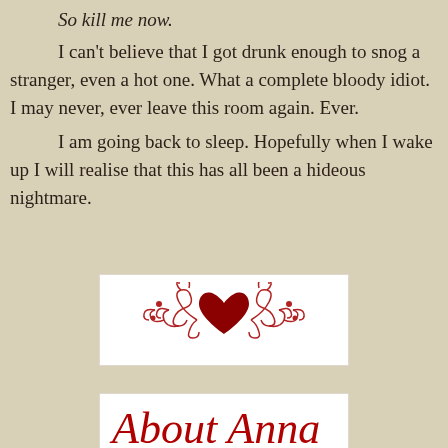So kill me now.

I can't believe that I got drunk enough to snog a stranger, even a hot one. What a complete bloody idiot. I may never, ever leave this room again. Ever.

I am going back to sleep. Hopefully when I wake up I will realise that this has all been a hideous nightmare.
[Figure (illustration): Decorative ornament: a dark red heart in the center flanked by red floral/vine scrollwork on both sides, on a white rectangular background.]
[Figure (illustration): Cursive script text beginning with what appears to be 'About Anna' or similar, in red cursive font on a white rectangular background, partially visible at bottom of page.]